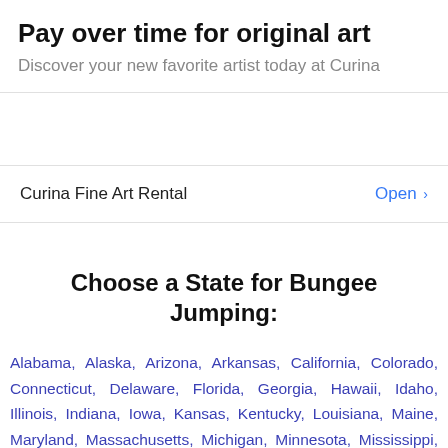Pay over time for original art
Discover your new favorite artist today at Curina
Curina Fine Art Rental   Open >
Choose a State for Bungee Jumping:
Alabama, Alaska, Arizona, Arkansas, California, Colorado, Connecticut, Delaware, Florida, Georgia, Hawaii, Idaho, Illinois, Indiana, Iowa, Kansas, Kentucky, Louisiana, Maine, Maryland, Massachusetts, Michigan, Minnesota, Mississippi, Missouri, Montana, Nebraska, Nevada, New Hampshire, New Jersey, New Mexico, New York, North Carolina, North Dakota, Ohio,